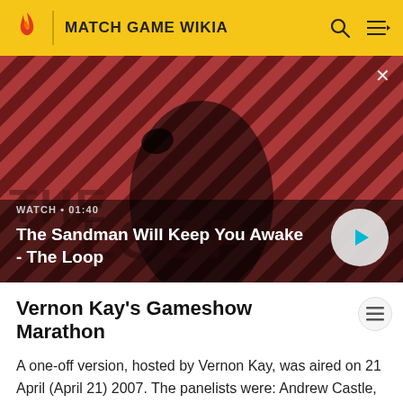MATCH GAME WIKIA
[Figure (screenshot): Video thumbnail showing a dark figure (man in black cape with a raven on shoulder) against a red and dark striped diagonal background. Text overlay reads: WATCH • 01:40 / The Sandman Will Keep You Awake - The Loop. A white circular play button is visible bottom right. THE LOOP logo partially visible.]
Vernon Kay's Gameshow Marathon
A one-off version, hosted by Vernon Kay, was aired on 21 April (April 21) 2007. The panelists were: Andrew Castle, Fern Britton, Joe Pasquale, Holly Willoughby, Vic Reeves